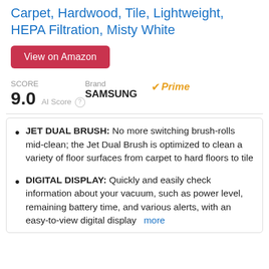Carpet, Hardwood, Tile, Lightweight, HEPA Filtration, Misty White
View on Amazon
SCORE 9.0 AI Score | Brand SAMSUNG | ✓Prime
JET DUAL BRUSH: No more switching brush-rolls mid-clean; the Jet Dual Brush is optimized to clean a variety of floor surfaces from carpet to hard floors to tile
DIGITAL DISPLAY: Quickly and easily check information about your vacuum, such as power level, remaining battery time, and various alerts, with an easy-to-view digital display more